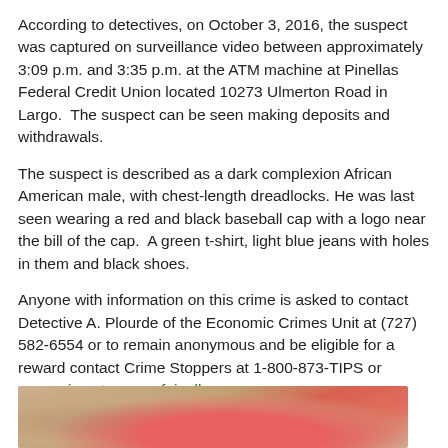According to detectives, on October 3, 2016, the suspect was captured on surveillance video between approximately 3:09 p.m. and 3:35 p.m. at the ATM machine at Pinellas Federal Credit Union located 10273 Ulmerton Road in Largo.  The suspect can be seen making deposits and withdrawals.
The suspect is described as a dark complexion African American male, with chest-length dreadlocks. He was last seen wearing a red and black baseball cap with a logo near the bill of the cap.  A green t-shirt, light blue jeans with holes in them and black shoes.
Anyone with information on this crime is asked to contact Detective A. Plourde of the Economic Crimes Unit at (727) 582-6554 or to remain anonymous and be eligible for a reward contact Crime Stoppers at 1-800-873-TIPS or www.crimestoppersofpinellas.org.
The investigation continues.
Surveillance photos of the suspect.
[Figure (photo): Surveillance photo of the suspect, partially visible, showing what appears to be top of head with red/pink hat and dark background.]